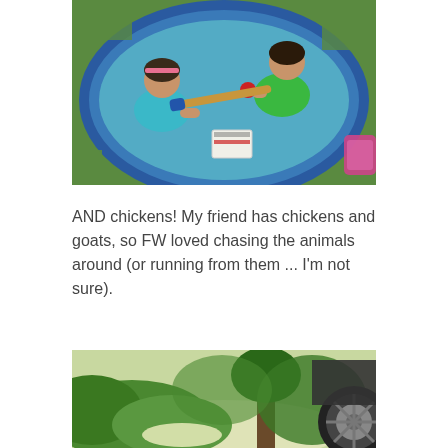[Figure (photo): Aerial view of two young children playing in a round blue inflatable kiddie pool on green grass. One child wears a floral outfit with a pink headband, the other wears a green shirt. There is a pool noodle/stick between them and a pink toy at the edge. A safety label is visible inside the pool.]
AND chickens! My friend has chickens and goats, so FW loved chasing the animals around (or running from them ... I'm not sure).
[Figure (photo): Outdoor scene with green trees and bushes, a tree trunk in the background, and the tire/wheel of a dark car visible on the right side. Bright sunlight on the ground.]